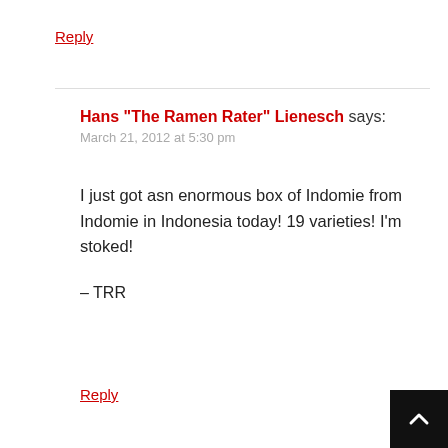Reply
Hans "The Ramen Rater" Lienesch says:
March 21, 2012 at 5:30 pm
I just got asn enormous box of Indomie from Indomie in Indonesia today! 19 varieties! I'm stoked!
– TRR
Reply